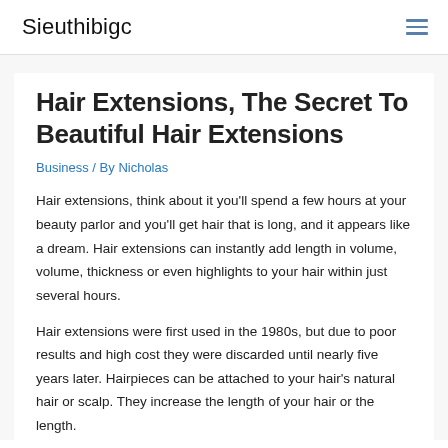Sieuthibigc
Hair Extensions, The Secret To Beautiful Hair Extensions
Business / By Nicholas
Hair extensions, think about it you'll spend a few hours at your beauty parlor and you'll get hair that is long, and it appears like a dream. Hair extensions can instantly add length in volume, volume, thickness or even highlights to your hair within just several hours.
Hair extensions were first used in the 1980s, but due to poor results and high cost they were discarded until nearly five years later. Hairpieces can be attached to your hair's natural hair or scalp. They increase the length of your hair or the length.